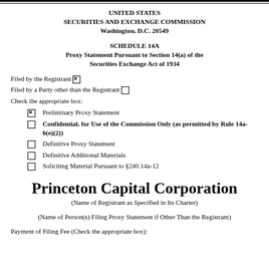UNITED STATES SECURITIES AND EXCHANGE COMMISSION Washington, D.C. 20549
SCHEDULE 14A Proxy Statement Pursuant to Section 14(a) of the Securities Exchange Act of 1934
Filed by the Registrant [X]
Filed by a Party other than the Registrant [ ]
Check the appropriate box:
[X] Preliminary Proxy Statement
[ ] Confidential, for Use of the Commission Only (as permitted by Rule 14a-6(e)(2))
[ ] Definitive Proxy Statement
[ ] Definitive Additional Materials
[ ] Soliciting Material Pursuant to §240.14a-12
Princeton Capital Corporation
(Name of Registrant as Specified in Its Charter)
(Name of Person(s) Filing Proxy Statement if Other Than the Registrant)
Payment of Filing Fee (Check the appropriate box):